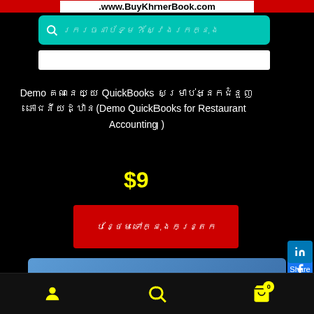www.BuyKhmerBook.com
[Figure (screenshot): Search bar with teal background and Khmer text placeholder]
Demo គណនេយ្យ QuickBooks សម្រាប់អ្នកជំនួញ ភោជនីយដ្ឋាន(Demo QuickBooks for Restaurant Accounting )
$9
បន្ថែមទៅក្នុងកន្ត្រក
[Figure (illustration): Blue gradient banner with white text: Software QuickBooks]
Bottom navigation bar with user, search, and cart icons